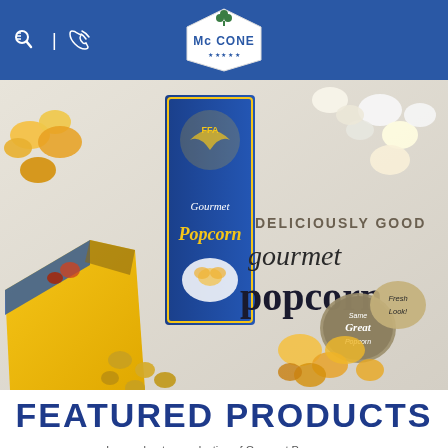McCone — header with logo and navigation icons
[Figure (photo): Promotional banner image showing McCone FFA Gourmet Popcorn products — a blue FFA-branded box of Gourmet Popcorn and a yellow open bag spilling caramel popcorn kernels, surrounded by scattered popcorn pieces on a light background. Text overlay reads: 'DELICIOUSLY GOOD gourmet popcorn' and badge elements 'Same Great Popcorn' and 'Fresh Look!']
FEATURED PRODUCTS
Learn about our selection of Gourmet Popcorn...